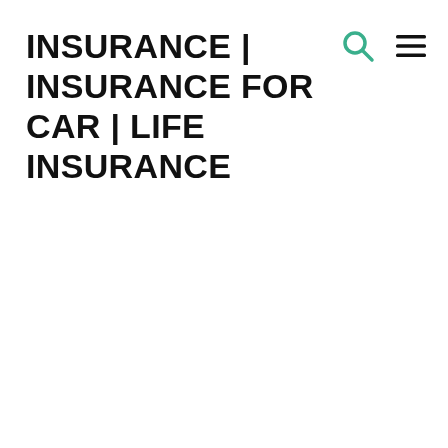INSURANCE | INSURANCE FOR CAR | LIFE INSURANCE
[Figure (other): Search icon (magnifying glass) in teal/green color]
[Figure (other): Hamburger menu icon (three horizontal lines) in dark color]